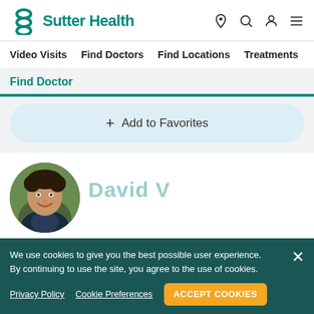Sutter Health
Video Visits  Find Doctors  Find Locations  Treatments
Find Doctor
+ Add to Favorites
[Figure (photo): Circular portrait photo of a smiling male doctor with dark curly hair, wearing a suit, against a blurred green outdoor background]
David V... (partial name visible)
We use cookies to give you the best possible user experience. By continuing to use the site, you agree to the use of cookies.
Privacy Policy   Cookie Preferences   ACCEPT COOKIES